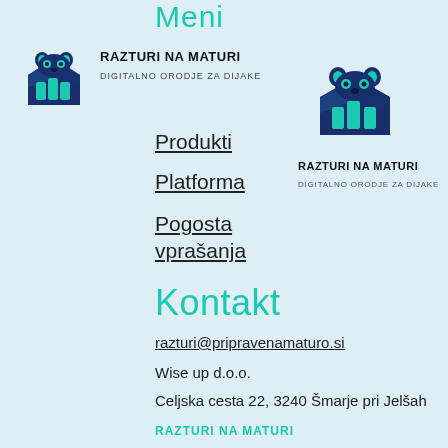Meni
[Figure (logo): Razturi na Maturi logo – stylized raccoon with books, teal and navy colors, top-left]
RAZTURI NA MATURI
DIGITALNO ORODJE ZA DIJAKE
[Figure (logo): Razturi na Maturi logo – stylized raccoon with books, teal and navy colors, right side]
RAZTURI NA MATURI
DIGITALNO ORODJE ZA DIJAKE
Produkti
Platforma
Pogosta vprašanja
Kontakt
razturi@pripravenamaturo.si
Wise up d.o.o.
Celjska cesta 22, 3240 Šmarje pri Jelšah
RAZTURI NA MATURI